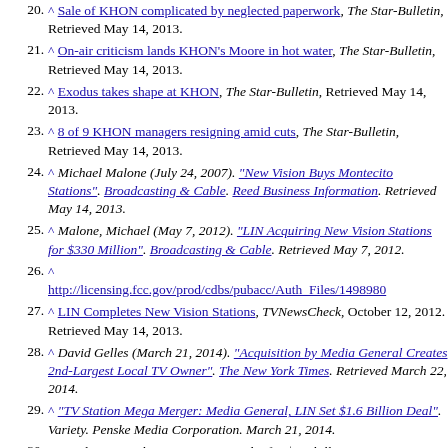20. ^ Sale of KHON complicated by neglected paperwork, The Star-Bulletin, Retrieved May 14, 2013.
21. ^ On-air criticism lands KHON's Moore in hot water, The Star-Bulletin, Retrieved May 14, 2013.
22. ^ Exodus takes shape at KHON, The Star-Bulletin, Retrieved May 14, 2013.
23. ^ 8 of 9 KHON managers resigning amid cuts, The Star-Bulletin, Retrieved May 14, 2013.
24. ^ Michael Malone (July 24, 2007). "New Vision Buys Montecito Stations". Broadcasting & Cable. Reed Business Information. Retrieved May 14, 2013.
25. ^ Malone, Michael (May 7, 2012). "LIN Acquiring New Vision Stations for $330 Million". Broadcasting & Cable. Retrieved May 7, 2012.
26. ^ http://licensing.fcc.gov/prod/cdbs/pubacc/Auth_Files/1498980
27. ^ LIN Completes New Vision Stations, TVNewsCheck, October 12, 2012. Retrieved May 14, 2013.
28. ^ David Gelles (March 21, 2014). "Acquisition by Media General Creates 2nd-Largest Local TV Owner". The New York Times. Retrieved March 22, 2014.
29. ^ "TV Station Mega Merger: Media General, LIN Set $1.6 Billion Deal". Variety. Penske Media Corporation. March 21, 2014.
30. ^ "Media General acquiring LIN Media for $1.6 billion".